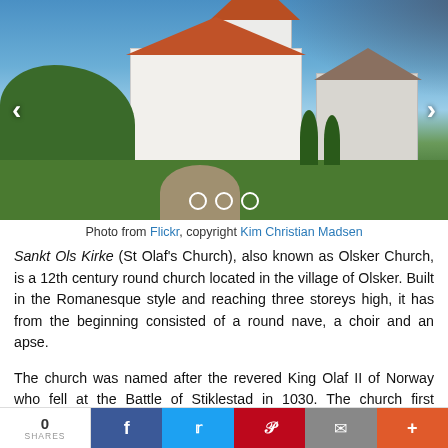[Figure (photo): Photograph of Sankt Ols Kirke (St Olaf's Church), a white round church with terracotta roof tiles, surrounded by green lawn and cemetery, taken on a sunny day with blue sky and dark clouds in background.]
Photo from Flickr, copyright Kim Christian Madsen
Sankt Ols Kirke (St Olaf's Church), also known as Olsker Church, is a 12th century round church located in the village of Olsker. Built in the Romanesque style and reaching three storeys high, it has from the beginning consisted of a round nave, a choir and an apse.
The church was named after the revered King Olaf II of Norway who fell at the Battle of Stiklestad in 1030. The church first belonged to the Archbishopric of Lund, then came under the Danish crown at the time of the Reformation. In the 19th century, it became fully independent.